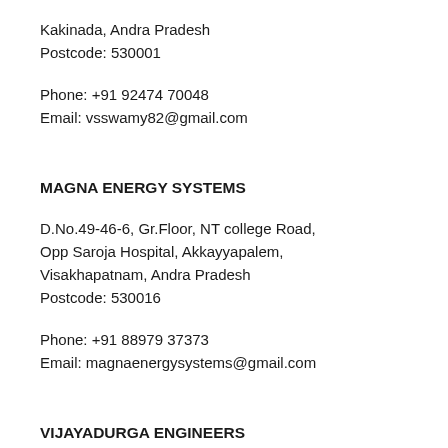Kakinada, Andra Pradesh
Postcode: 530001
Phone: +91 92474 70048
Email: vsswamy82@gmail.com
MAGNA ENERGY SYSTEMS
D.No.49-46-6, Gr.Floor, NT college Road,
Opp Saroja Hospital, Akkayyapalem,
Visakhapatnam, Andra Pradesh
Postcode: 530016
Phone: +91 88979 37373
Email: magnaenergysystems@gmail.com
VIJAYADURGA ENGINEERS
Plot No.9, D.No: 59A-10/1-4, 1st Right Road,